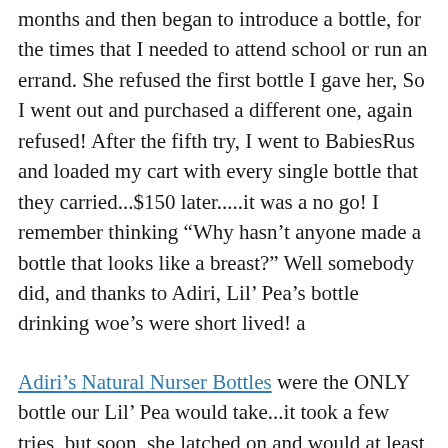months and then began to introduce a bottle, for the times that I needed to attend school or run an errand. She refused the first bottle I gave her, So I went out and purchased a different one, again refused! After the fifth try, I went to BabiesRus and loaded my cart with every single bottle that they carried...$150 later.....it was a no go! I remember thinking “Why hasn’t anyone made a bottle that looks like a breast?” Well somebody did, and thanks to Adiri, Lil’ Pea’s bottle drinking woe’s were short lived! a
Adiri’s Natural Nurser Bottles were the ONLY bottle our Lil’ Pea would take...it took a few tries, but soon, she latched on and would at least take enough of a bottle that I could leave her with my husband while I attended school. And let me just